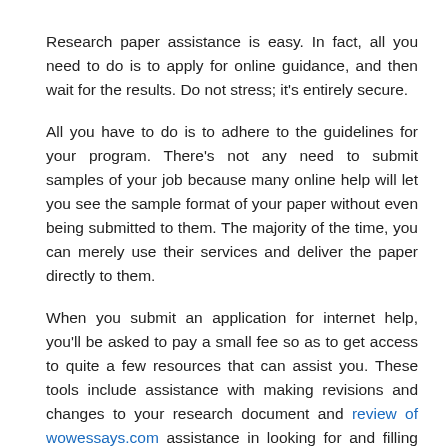Research paper assistance is easy. In fact, all you need to do is to apply for online guidance, and then wait for the results. Do not stress; it's entirely secure.
All you have to do is to adhere to the guidelines for your program. There's not any need to submit samples of your job because many online help will let you see the sample format of your paper without even being submitted to them. The majority of the time, you can merely use their services and deliver the paper directly to them.
When you submit an application for internet help, you'll be asked to pay a small fee so as to get access to quite a few resources that can assist you. These tools include assistance with making revisions and changes to your research document and review of wowessays.com assistance in looking for and filling out student study forms. There are also software